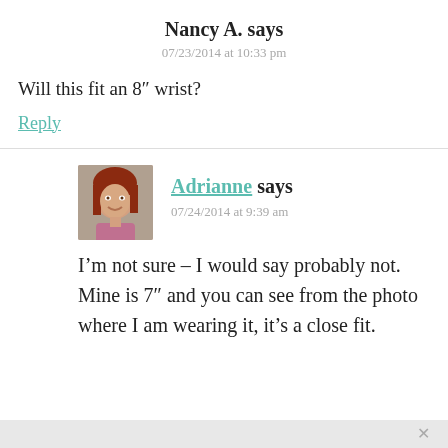Nancy A. says
07/23/2014 at 10:33 pm
Will this fit an 8″ wrist?
Reply
[Figure (photo): Avatar photo of Adrianne, a woman with red hair smiling, brick wall background]
Adrianne says
07/24/2014 at 9:39 am
I’m not sure – I would say probably not. Mine is 7″ and you can see from the photo where I am wearing it, it’s a close fit.